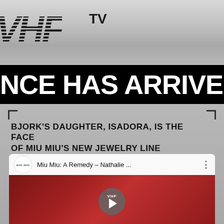[Figure (logo): VHF TV logo in striped italic bold font on metallic silver background]
NCE HAS ARRIVED
BJORK'S DAUGHTER, ISADORA, IS THE FACE OF MIU MIU'S NEW JEWELRY LINE
[Figure (screenshot): YouTube video thumbnail: Miu Miu: A Remedy - Nathalie ..., showing a young person lying down with a colorful bird figure, with VHF play button overlay]